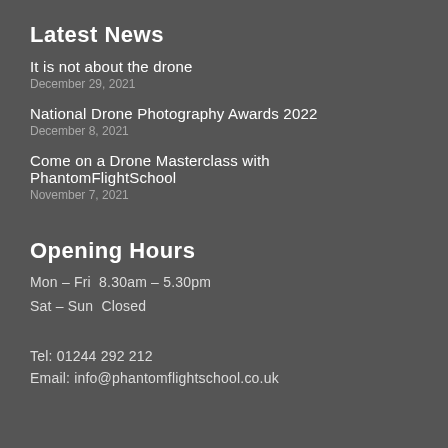Latest News
It is not about the drone
December 29, 2021
National Drone Photography Awards 2022
December 8, 2021
Come on a Drone Masterclass with PhantomFlightSchool
November 7, 2021
Opening Hours
Mon – Fri  8.30am – 5.30pm
Sat – Sun  Closed
Tel: 01244 292 212
Email: info@phantomflightschool.co.uk